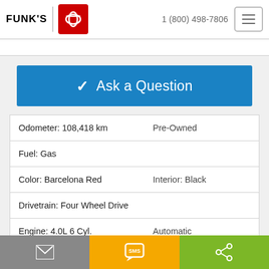FUNK'S TOYOTA  1 (800) 498-7806
[Figure (screenshot): Blue 'Ask a Question' button with checkmark icon]
| Odometer: 108,418 km | Pre-Owned |
| Fuel: Gas |  |
| Color: Barcelona Red | Interior: Black |
| Drivetrain: Four Wheel Drive |  |
| Engine: 4.0L 6 Cyl. | Automatic |
| Doors: 4 | Passengers: 5 |
Email | SMS | Share